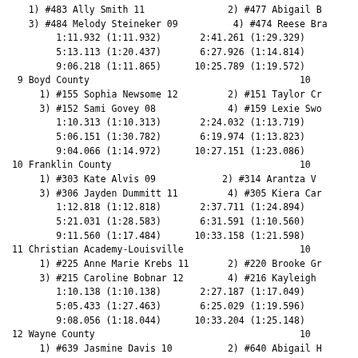1) #483 Ally Smith 11               2) #477 Abigail B
    3) #484 Melody Steineker 09          4) #474 Reese Bra
         1:11.932 (1:11.932)       2:41.261 (1:29.329)
         5:13.113 (1:20.437)       6:27.926 (1:14.814)
         9:06.218 (1:11.865)      10:25.789 (1:19.572)
  9 Boyd County                                      10
      1) #155 Sophia Newsome 12         2) #151 Taylor Cr
      3) #152 Sami Govey 08             4) #159 Lexie Swo
         1:10.313 (1:10.313)       2:24.032 (1:13.719)
         5:06.151 (1:30.782)       6:19.974 (1:13.823)
         9:04.066 (1:14.972)      10:27.151 (1:23.086)
 10 Franklin County                                  10
      1) #303 Kate Alvis 09            2) #314 Arantza V
      3) #306 Jayden Dummitt 11         4) #305 Kiera Car
         1:12.818 (1:12.818)       2:37.711 (1:24.894)
         5:21.031 (1:28.583)       6:31.591 (1:10.560)
         9:11.560 (1:17.484)      10:33.158 (1:21.598)
 11 Christian Academy-Louisville                     10
      1) #225 Anne Marie Krebs 11       2) #220 Brooke Gr
      3) #215 Caroline Bobnar 12        4) #216 Kayleigh
         1:10.138 (1:10.138)       2:27.187 (1:17.049)
         5:05.433 (1:27.463)       6:25.029 (1:19.596)
         9:08.056 (1:18.044)      10:33.204 (1:25.148)
 12 Wayne County                                     10
      1) #639 Jasmine Davis 10          2) #640 Abigail H
      3) #641 Adeline Heatherly 08      4) #642 Emily She
         1:09.969 (1:09.969)       2:37.907 (1:27.939)
         5:21.329 (1:26.423)       6:40.622 (1:19.294)
         9:33.672 (1:26.690)      10:55.750 (1:22.079)
 13 Nelson County                                    13